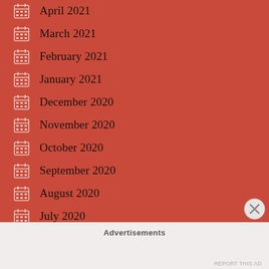April 2021
March 2021
February 2021
January 2021
December 2020
November 2020
October 2020
September 2020
August 2020
July 2020
June 2020
April 2020
Advertisements
REPORT THIS AD